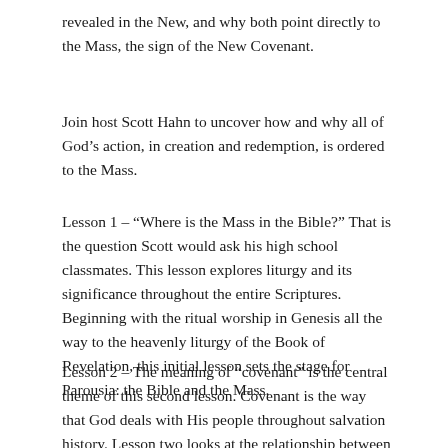revealed in the New, and why both point directly to the Mass, the sign of the New Covenant.
Join host Scott Hahn to uncover how and why all of God's action, in creation and redemption, is ordered to the Mass.
Lesson 1 – "Where is the Mass in the Bible?" That is the question Scott would ask his high school classmates. This lesson explores liturgy and its significance throughout the entire Scriptures. Beginning with the ritual worship in Genesis all the way to the heavenly liturgy of the Book of Revelation, this initial lesson sets the stage for Parousia: the Bible and the Mass.
Lesson 2 – The meaning of "covenant" is the central theme of this second lesson. Covenant is the way that God deals with His people throughout salvation history. Lesson two looks at the relationship between covenant and liturgy, and how God's ultimate purpose for humanity is communion with Himself.